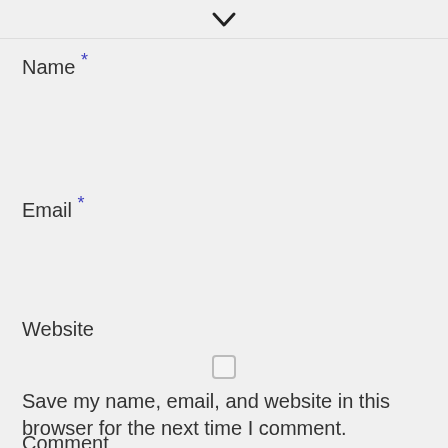[Figure (other): Chevron/down-arrow icon indicating a collapsible section]
Name *
Email *
Website
[Figure (other): Unchecked checkbox]
Save my name, email, and website in this browser for the next time I comment.
Comment